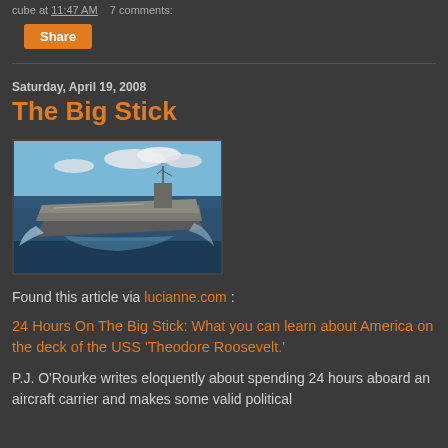cube at 11:47 AM   7 comments:
Share
Saturday, April 19, 2008
The Big Stick
[Figure (photo): An aircraft carrier (USS Theodore Roosevelt) sailing through the ocean, viewed from slightly above and ahead, with a blue sky and clouds in the background.]
Found this article via lucianne.com :
24 Hours On The Big Stick: What you can learn about America on the deck of the USS 'Theodore Roosevelt.'
P.J. O'Rourke writes eloquently about spending 24 hours aboard an aircraft carrier and makes some valid political